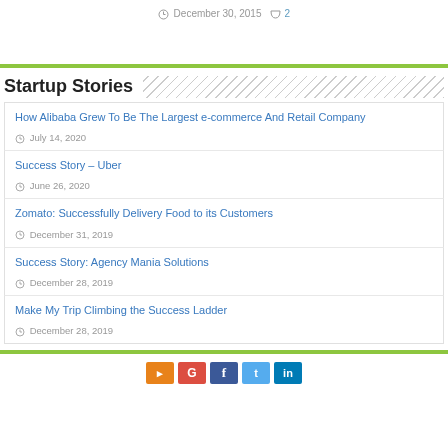December 30, 2015  2
Startup Stories
How Alibaba Grew To Be The Largest e-commerce And Retail Company
July 14, 2020
Success Story – Uber
June 26, 2020
Zomato: Successfully Delivery Food to its Customers
December 31, 2019
Success Story: Agency Mania Solutions
December 28, 2019
Make My Trip Climbing the Success Ladder
December 28, 2019
Social links: RSS, G, Facebook, Twitter, LinkedIn